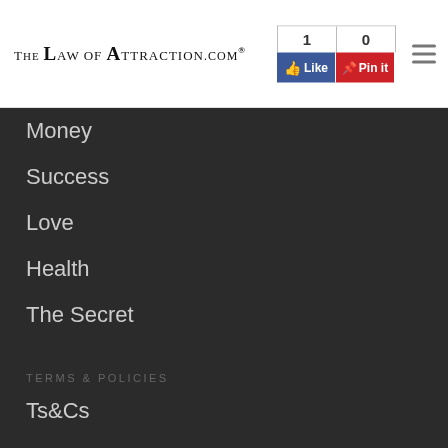TheLawOfAttraction.com® | Like 1 | Pin it 0
Money
Success
Love
Health
The Secret
TERMS & POLICIES
Ts&Cs
Privacy
Anti-Spam